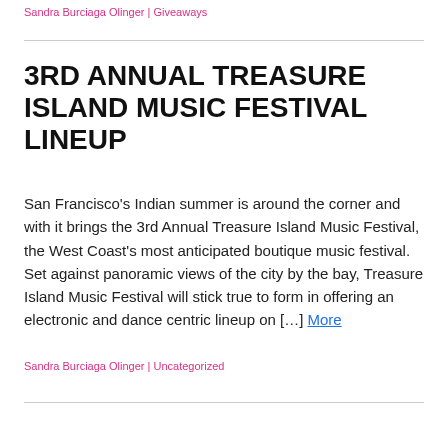Sandra Burciaga Olinger | Giveaways
3rd ANNUAL TREASURE ISLAND MUSIC FESTIVAL LINEUP
San Francisco's Indian summer is around the corner and with it brings the 3rd Annual Treasure Island Music Festival, the West Coast's most anticipated boutique music festival. Set against panoramic views of the city by the bay, Treasure Island Music Festival will stick true to form in offering an electronic and dance centric lineup on […] More
Sandra Burciaga Olinger | Uncategorized